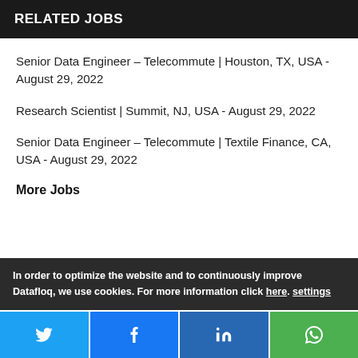RELATED JOBS
Senior Data Engineer – Telecommute | Houston, TX, USA - August 29, 2022
Research Scientist | Summit, NJ, USA - August 29, 2022
Senior Data Engineer – Telecommute | Textile Finance, CA, USA - August 29, 2022
More Jobs
In order to optimize the website and to continuously improve Datafloq, we use cookies. For more information click here. settings